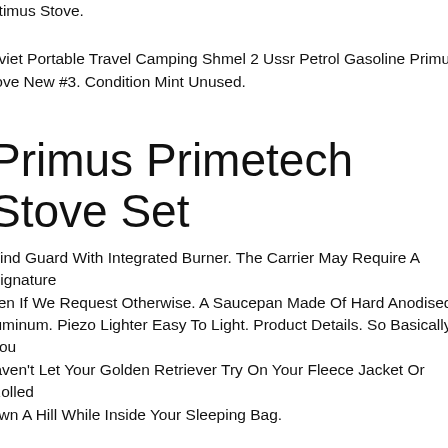ptimus Stove.
oviet Portable Travel Camping Shmel 2 Ussr Petrol Gasoline Primus tove New #3. Condition Mint Unused.
Primus Primetech Stove Set
Vind Guard With Integrated Burner. The Carrier May Require A Signature ven If We Request Otherwise. A Saucepan Made Of Hard Anodised luminum. Piezo Lighter Easy To Light. Product Details. So Basically You laven't Let Your Golden Retriever Try On Your Fleece Jacket Or Rolled own A Hill While Inside Your Sleeping Bag.
are Optimus Campingo Pre-war Ww2 Antique Camp Stove Single Burne rimus Sweden. About The Optimus Campingo No. 1 The Optimus ampingo Is One Of The Primary Predecessors To And Grandfather Of Modern Camp Stoves Including The Optimus 11, Then The Hiker 111. If ou're Looking To Fill Out Your Classic Camp Stove Collection, Here Is our Stove.
ussian Gasoline Camping Stove Primus Optimus Svea Clone. Portable amp Stove "pt-2" Is A Detailed Design Of The Swedish Stove "optimus